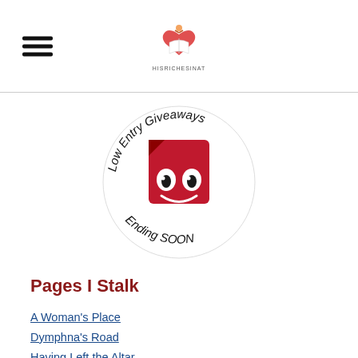[Figure (logo): HisRichesInAT website logo with heart and book icon above website name text]
[Figure (illustration): Low Entry Giveaways Ending SOON circular logo with red smiling character in center, handwritten text around the circle]
Pages I Stalk
A Woman's Place
Dymphna's Road
Having Left the Altar
Fr. Z @ WDTPRS
Spirit Daily
These Stone Walls
St. Joseph's Vanguard
Catholic Sistas